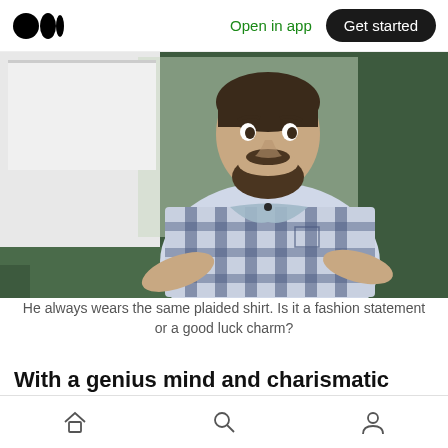Open in app  Get started
[Figure (photo): A bearded man in a blue and black plaid short-sleeve shirt standing in front of a green wall and whiteboard, gesturing with his hands as if speaking or presenting.]
He always wears the same plaided shirt. Is it a fashion statement or a good luck charm?
With a genius mind and charismatic personality
Home  Search  Profile